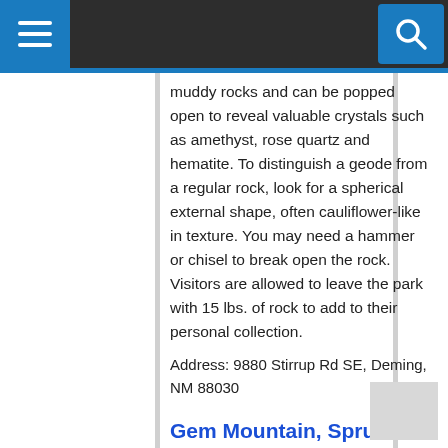Navigation bar with hamburger menu and search icon
muddy rocks and can be popped open to reveal valuable crystals such as amethyst, rose quartz and hematite. To distinguish a geode from a regular rock, look for a spherical external shape, often cauliflower-like in texture. You may need a hammer or chisel to break open the rock. Visitors are allowed to leave the park with 15 lbs. of rock to add to their personal collection.
Address: 9880 Stirrup Rd SE, Deming, NM 88030
Gem Mountain, Spruce Pine, North Carolina